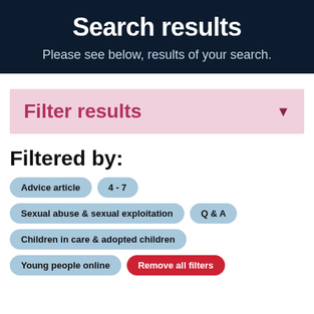Search results
Please see below, results of your search.
Filter results
Filtered by:
Advice article
4 - 7
Sexual abuse & sexual exploitation
Q & A
Children in care & adopted children
Young people online
Remove all filters